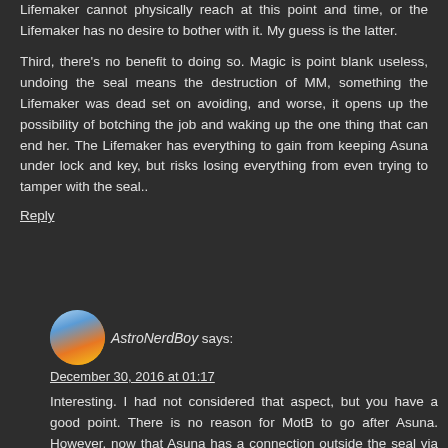Lifemaker cannot physically reach at this point and time, or the Lifemaker has no desire to bother with it. My guess is the latter.
Third, there's no benefit to doing so. Magic is point blank useless, undoing the seal means the destruction of MM, something the Lifemaker was dead set on avoiding, and worse, it opens up the possibility of botching the job and waking up the one thing that can end her. The Lifemaker has everything to gain from keeping Asuna under lock and key, but risks losing everything from even trying to tamper with the seal..
Reply
AstroNerdBoy says:
December 30, 2016 at 01:17
Interesting. I had not considered that aspect, but you have a good point. There is no reason for MotB to go after Asuna. However, now that Asuna has a connection outside the seal via Touta, I wonder if that changes anything.
Reply